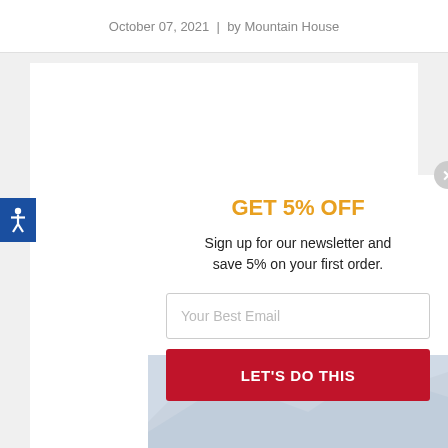October 07, 2021 | by Mountain House
[Figure (screenshot): Accessibility icon button (blue background with white human figure)]
GET 5% OFF
Sign up for our newsletter and save 5% on your first order.
Your Best Email
LET'S DO THIS